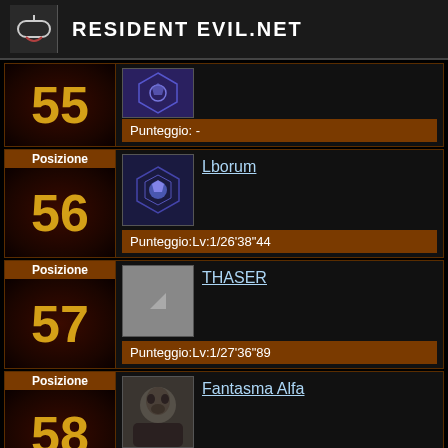RESIDENT EVIL.NET
Posizione 55 — Punteggio: -
Posizione 56 — Lborum — Punteggio:Lv:1/26'38"44
Posizione 57 — THASER — Punteggio:Lv:1/27'36"89
Posizione 58 — Fantasma Alfa — Punteggio:Lv:1/28'27"18